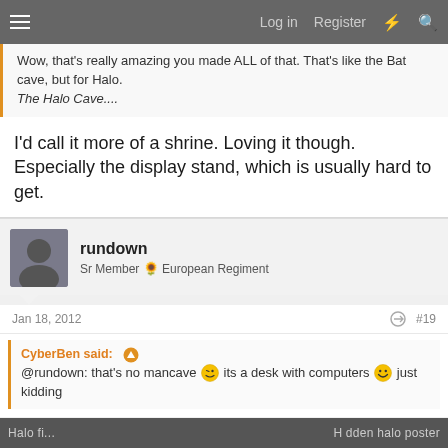Log in  Register
Wow, that's really amazing you made ALL of that. That's like the Bat cave, but for Halo. The Halo Cave....
I'd call it more of a shrine. Loving it though. Especially the display stand, which is usually hard to get.
rundown
Sr Member  European Regiment
Jan 18, 2012  #19
CyberBen said: ↑
@rundown: that's no mancave 😉 its a desk with computers 😁 just kidding
[Figure (screenshot): Bottom image strip showing partial text 'Hidden halo poster']